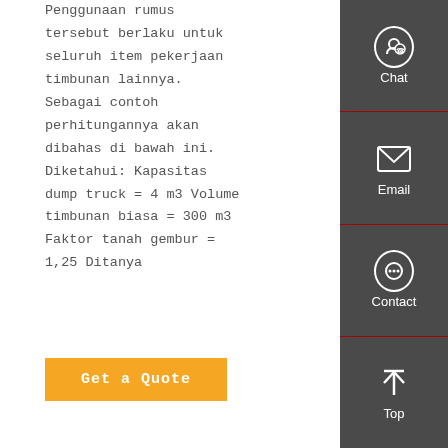Penggunaan rumus tersebut berlaku untuk seluruh item pekerjaan timbunan lainnya. Sebagai contoh perhitungannya akan dibahas di bawah ini. Diketahui: Kapasitas dump truck = 4 m3 Volume timbunan biasa = 300 m3 Faktor tanah gembur = 1,25 Ditanya
Get a Quote